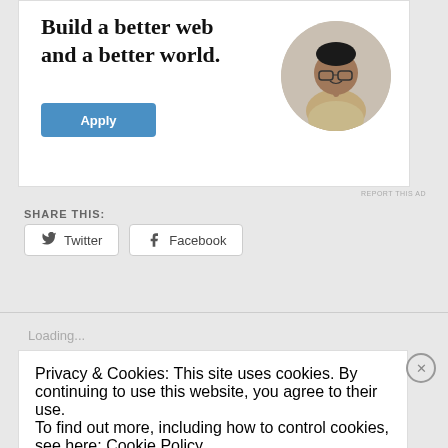[Figure (infographic): Advertisement box with bold text 'Build a better web and a better world.' and a blue Apply button, with a circular photo of a man thinking at a desk]
SHARE THIS:
Twitter
Facebook
Loading...
Privacy & Cookies: This site uses cookies. By continuing to use this website, you agree to their use.
To find out more, including how to control cookies, see here: Cookie Policy
Close and accept